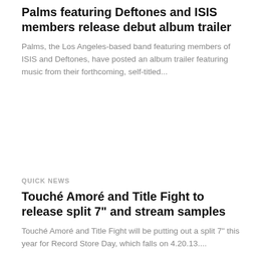Palms featuring Deftones and ISIS members release debut album trailer
Palms, the Los Angeles-based band featuring members of ISIS and Deftones, have posted an album trailer featuring music from their forthcoming, self-titled...
QUICK NEWS
Touché Amoré and Title Fight to release split 7" and stream samples
Touché Amoré and Title Fight will be putting out a split 7" this year for Record Store Day, which falls on 4.20.13....